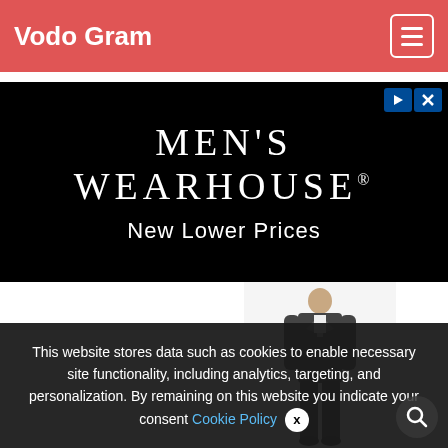Vodo Gram
[Figure (screenshot): Men's Wearhouse advertisement banner with black background showing brand name and tagline 'New Lower Prices']
[Figure (photo): Man in dark grey formal suit standing on white background]
[Figure (photo): Man in black tuxedo with bow tie standing on white background]
This website stores data such as cookies to enable necessary site functionality, including analytics, targeting, and personalization. By remaining on this website you indicate your consent Cookie Policy  X